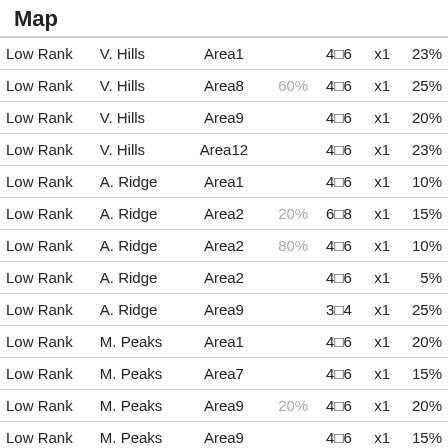Map
| Rank | Location | Area | Pct1 | Range | Mult | Pct2 |
| --- | --- | --- | --- | --- | --- | --- |
| Low Rank | V. Hills | Area1 |  | 4~6 | x1 | 23% |
| Low Rank | V. Hills | Area8 | 60% | 4~6 | x1 | 25% |
| Low Rank | V. Hills | Area9 |  | 4~6 | x1 | 20% |
| Low Rank | V. Hills | Area12 |  | 4~6 | x1 | 23% |
| Low Rank | A. Ridge | Area1 |  | 4~6 | x1 | 10% |
| Low Rank | A. Ridge | Area2 | 20% | 6~8 | x1 | 15% |
| Low Rank | A. Ridge | Area2 | 80% | 4~6 | x1 | 10% |
| Low Rank | A. Ridge | Area2 |  | 4~6 | x1 | 5% |
| Low Rank | A. Ridge | Area9 |  | 3~4 | x1 | 25% |
| Low Rank | M. Peaks | Area1 |  | 4~6 | x1 | 20% |
| Low Rank | M. Peaks | Area7 |  | 4~6 | x1 | 15% |
| Low Rank | M. Peaks | Area9 | 20% | 4~6 | x1 | 20% |
| Low Rank | M. Peaks | Area9 |  | 4~6 | x1 | 15% |
| Low Rank | M. Peaks | Area9 | 80% | 4~6 | x1 | 15% |